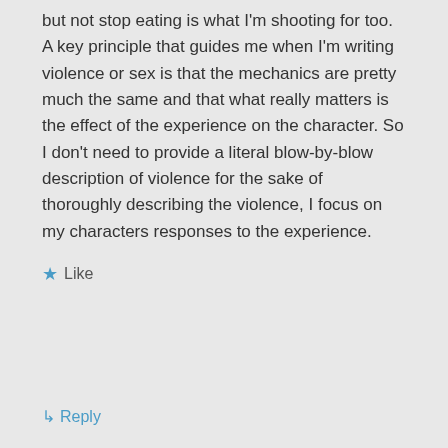but not stop eating is what I'm shooting for too.
A key principle that guides me when I'm writing violence or sex is that the mechanics are pretty much the same and that what really matters is the effect of the experience on the character. So I don't need to provide a literal blow-by-blow description of violence for the sake of thoroughly describing the violence, I focus on my characters responses to the experience.
★ Like
↳ Reply